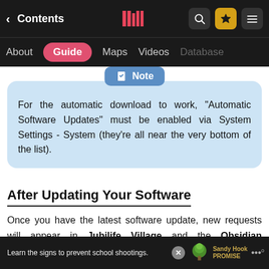Contents | Guide | Maps | Videos | Database
Note
For the automatic download to work, "Automatic Software Updates" must be enabled via System Settings - System (they're all near the very bottom of the list).
After Updating Your Software
Once you have the latest software update, new requests will appear in Jubilife Village and the Obsidian Fieldlands. However, you must be in the postgame
Learn the signs to prevent school shootings. Sandy Hook Promise